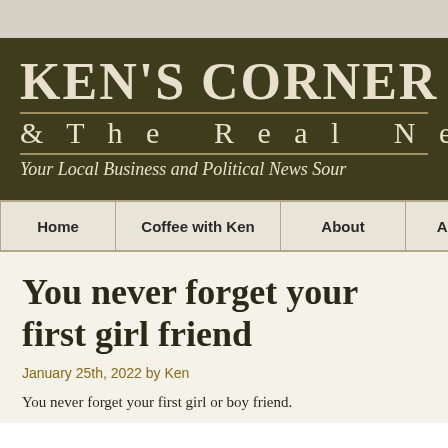KEN'S CORNER & The Real New
Your Local Business and Political News Sour
Home | Coffee with Ken | About | Advertising | Home
You never forget your first girl friend
January 25th, 2022 by Ken
You never forget your first girl or boy friend.